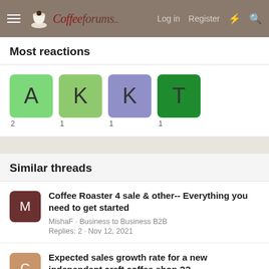CoffeeForums.com — Log in  Register
Most reactions
[Figure (other): Four user avatar tiles labeled A (count 2), K (count 1), K (count 1), T (count 1) in green, green, purple, and dark green colors]
Similar threads
Coffee Roaster 4 sale & other-- Everything you need to get started
MishaF · Business to Business B2B
Replies: 2 · Nov 12, 2021
Expected sales growth rate for a new independent craft coffee shop ??